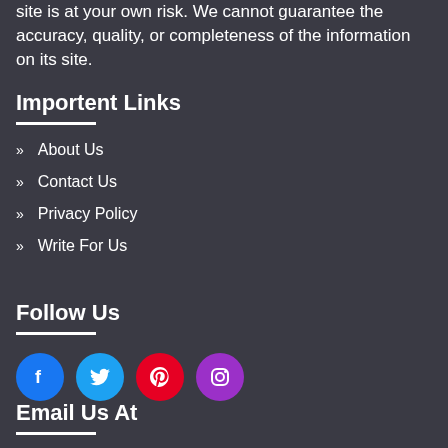site is at your own risk. We cannot guarantee the accuracy, quality, or completeness of the information on its site.
Importent Links
About Us
Contact Us
Privacy Policy
Write For Us
Follow Us
[Figure (illustration): Four social media icon circles: Facebook (blue), Twitter (light blue), Pinterest (red), Instagram (purple)]
Email Us At